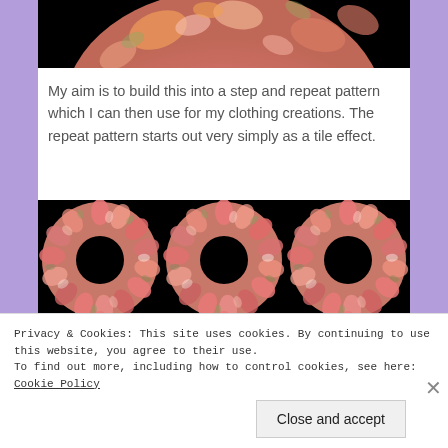[Figure (photo): Top portion of a circular fractal/swirl pattern with pink, orange, green and white colors on black background, cropped to show only the upper arc]
My aim is to build this into a step and repeat pattern which I can then use for my clothing creations. The repeat pattern starts out very simply as a tile effect.
[Figure (photo): Grid of donut/ring shapes with fractal swirl patterns in pink, red, green and white on black background, showing 3 columns of rings with partial 4th row visible]
Privacy & Cookies: This site uses cookies. By continuing to use this website, you agree to their use.
To find out more, including how to control cookies, see here: Cookie Policy
Close and accept